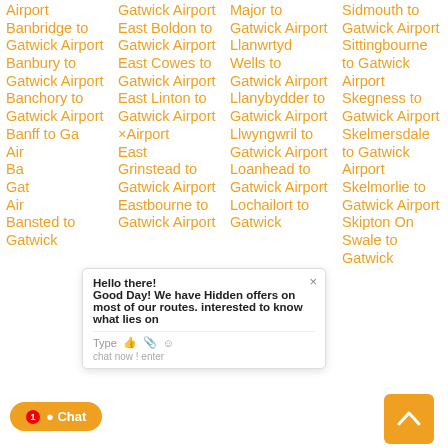Airport
Banbridge to Gatwick Airport
Banbury to Gatwick Airport
Banchory to Gatwick Airport
Banff to Gatwick Airport
Banstead to Gatwick
Gatwick East Boldon to Gatwick Airport
East Cowes to Gatwick Airport
East Linton to Gatwick Airport
East Grinstead to Gatwick Airport
Eastbourne to Gatwick Airport
Major to Gatwick Airport
Llanwrtyd Wells to Gatwick Airport
Llanybydder to Gatwick Airport
Llwyngwril to Gatwick Airport
Loanhead to Gatwick Airport
Lochailort to Gatwick
Sidmouth to Gatwick Airport
Sittingbourne to Gatwick Airport
Skegness to Gatwick Airport
Skelmersdale to Gatwick Airport
Skelmorlie to Gatwick Airport
Skipton On Swale to Gatwick